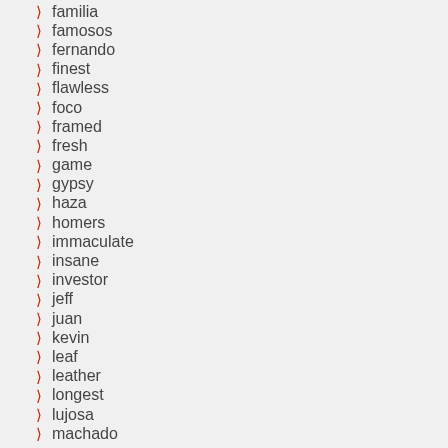familia
famosos
fernando
finest
flawless
foco
framed
fresh
game
gypsy
haza
homers
immaculate
insane
investor
jeff
juan
kevin
leaf
leather
longest
lujosa
machado